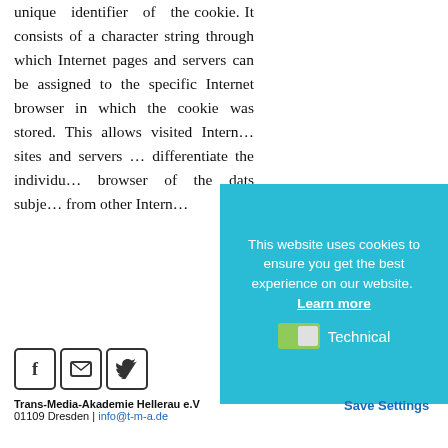unique identifier of the cookie. It consists of a character string through which Internet pages and servers can be assigned to the specific Internet browser in which the cookie was stored. This allows visited Internet sites and servers to differentiate the individual browser of the data subject from other Internet
[Figure (other): Social media icons: Facebook (f), email (envelope), Twitter (bird)]
Trans-Media-Akademie Hellerau e.V
01109 Dresden | info@t-m-a.de
[Figure (screenshot): Cookie consent overlay on cyan/teal background. Text: 'This website uses cookies to ensure you get the best experience on our website. Learn more' with a Technical toggle (green) and Save Settings button.]